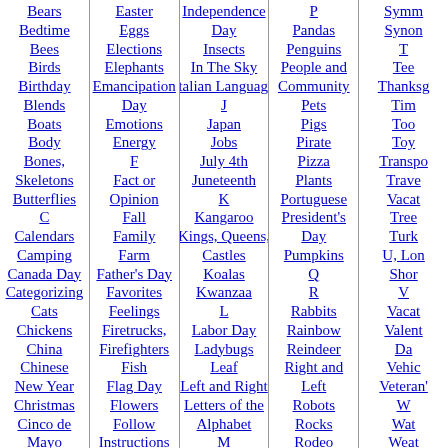Bears, Bedtime, Bees, Birds, Birthday, Blends, Boats, Body, Bones Skeletons, Butterflies, C, Calendars, Camping, Canada Day, Categorizing, Cats, Chickens, China, Chinese New Year, Christmas, Cinco de Mayo, Circus, Classifying
Easter, Eggs, Elections, Elephants, Emancipation Day, Emotions, Energy, F, Fact or Opinion, Fall, Family, Farm, Father's Day, Favorites, Feelings, Firetrucks Firefighters, Fish, Flag Day, Flowers, Follow Instructions, Food, French
Independence Day, Insects, In The Sky, Italian Language, J, Japan, Jobs, July 4th, Juneteenth, K, Kangaroo, Kings Queens Castles, Koalas, Kwanzaa, L, Labor Day, Ladybugs, Leaf, Left and Right, Letters of the Alphabet, M, Mammals, Martin Luther
P, Pandas, Penguins, People and Community, Pets, Pigs, Pirate, Pizza, Plants, Portuguese, President's Day, Pumpkins, Q, R, Rabbits, Rainbow, Reindeer, Right and Left, Robots, Rocks, Rodeo, Russia, S
Symm, Synon, T, Tee, Thanksg, Tim, Too, Toy, Transpo, Trave, Vacat, Tree, Turk, U Lon, Shor, V, Vacat, Valent, Da, Vehic, Veteran', W, Wat, Weat, Wha, Do